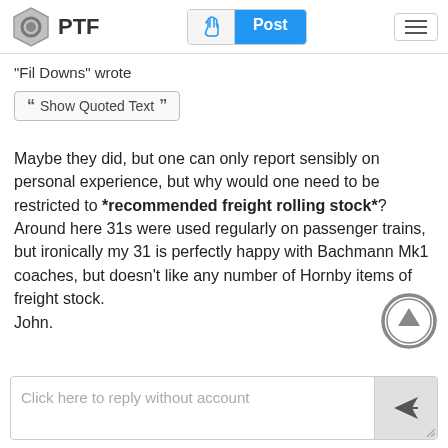PTF | Post
"Fil Downs" wrote
Show Quoted Text
Maybe they did, but one can only report sensibly on personal experience, but why would one need to be restricted to *recommended freight rolling stock*? Around here 31s were used regularly on passenger trains, but ironically my 31 is perfectly happy with Bachmann Mk1 coaches, but doesn't like any number of Hornby items of freight stock.
John.
Click here to reply without account